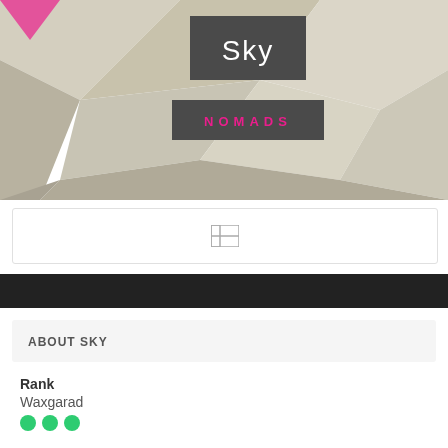[Figure (illustration): Sky Nomads banner header with geometric polygon background in beige/grey tones. Contains two overlapping boxes: a dark grey box with 'Sky' in white, and a dark grey box with 'NOMADS' in pink letters.]
[Figure (other): Search bar with a grid/table icon in the center]
[Figure (other): Black navigation bar]
ABOUT SKY
Rank
Waxgarad
I am not from that tribe
SKY replied to Miskiin-Macruuf-Aqiyaar's topic in General